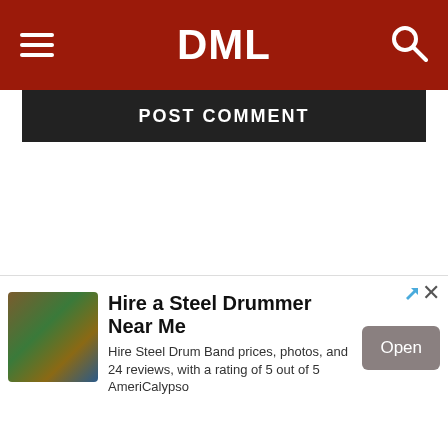DML
POST COMMENT
Follow us
[Figure (logo): Facebook icon - blue square with white f]
[Figure (logo): Spotify icon - green square with white wifi-like bars]
Trending Now
[Figure (photo): Advertisement image for steel drum musician]
Hire a Steel Drummer Near Me
Hire Steel Drum Band prices, photos, and 24 reviews, with a rating of 5 out of 5
AmeriCalypso